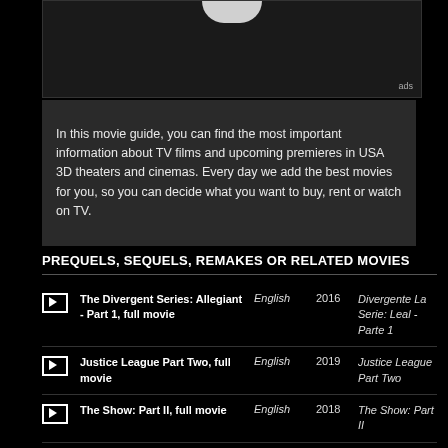[Figure (screenshot): Video player area with a white semi-circle at top center, dark background, 'ads' label in bottom right]
In this movie guide, you can find the most important information about TV films and upcoming premieres in USA 3D theaters and cinemas. Every day we add the best movies for you, so you can decide what you want to buy, rent or watch on TV.
PREQUELS, SEQUELS, REMAKES OR RELATED MOVIES
| Title | Language | Year | Alt Title |
| --- | --- | --- | --- |
| The Divergent Series: Allegiant - Part 1, full movie | English | 2016 | Divergente La Serie: Leal - Parte 1 |
| Justice League Part Two, full movie | English | 2019 | Justice League Part Two |
| The Show: Part II, full movie | English | 2018 | The Show: Part II |
| The Green Fairy Part 2, full movie | English | 2017 | The Green Fairy Part 2 |
| The Show: Part I, full movie | English | 2017 | The Show: Part I |